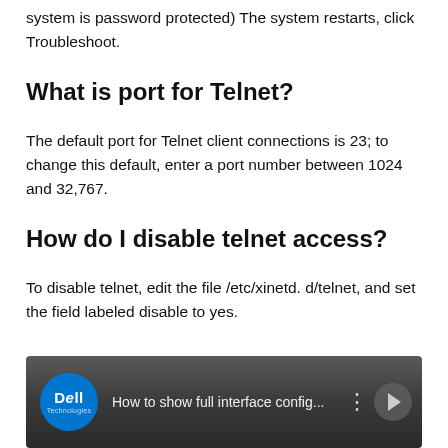system is password protected) The system restarts, click Troubleshoot.
What is port for Telnet?
The default port for Telnet client connections is 23; to change this default, enter a port number between 1024 and 32,767.
How do I disable telnet access?
To disable telnet, edit the file /etc/xinetd. d/telnet, and set the field labeled disable to yes.
[Figure (screenshot): Dell Technologies video thumbnail showing 'How to show full interface config...' with Dell logo, video title, menu dots and play button on dark gradient background]